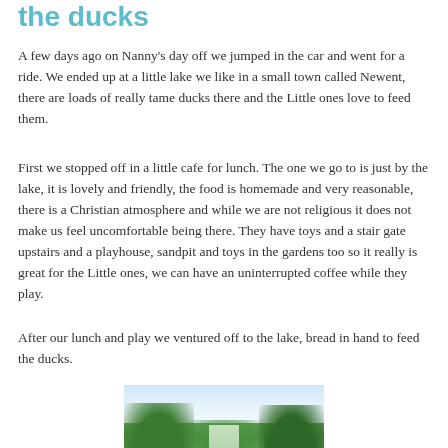the ducks
A few days ago on Nanny's day off we jumped in the car and went for a ride. We ended up at a little lake we like in a small town called Newent, there are loads of really tame ducks there and the Little ones love to feed them.
First we stopped off in a little cafe for lunch. The one we go to is just by the lake, it is lovely and friendly, the food is homemade and very reasonable, there is a Christian atmosphere and while we are not religious it does not make us feel uncomfortable being there. They have toys and a stair gate upstairs and a playhouse, sandpit and toys in the gardens too so it really is great for the Little ones, we can have an uninterrupted coffee while they play.
After our lunch and play we ventured off to the lake, bread in hand to feed the ducks.
[Figure (photo): Outdoor photo showing a lake or path surrounded by lush green trees with a bright sky above]